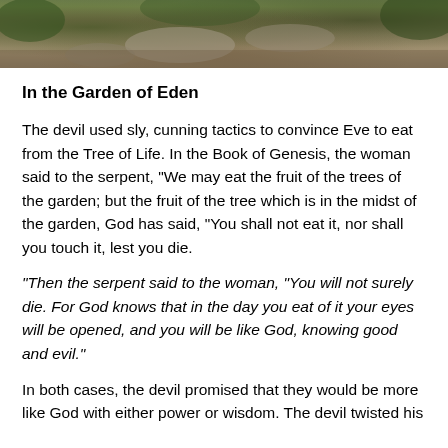[Figure (photo): Photograph of a garden path with stones, dirt, and green foliage visible]
In the Garden of Eden
The devil used sly, cunning tactics to convince Eve to eat from the Tree of Life. In the Book of Genesis, the woman said to the serpent, “We may eat the fruit of the trees of the garden; but the fruit of the tree which is in the midst of the garden, God has said, “You shall not eat it, nor shall you touch it, lest you die.
“Then the serpent said to the woman, “You will not surely die. For God knows that in the day you eat of it your eyes will be opened, and you will be like God, knowing good and evil.”
In both cases, the devil promised that they would be more like God with either power or wisdom. The devil twisted his